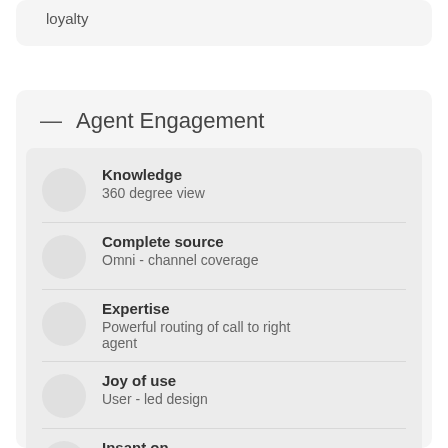loyalty
— Agent Engagement
Knowledge
360 degree view
Complete source
Omni - channel coverage
Expertise
Powerful routing of call to right agent
Joy of use
User - led design
Insant on